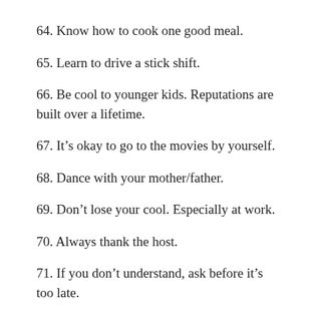64. Know how to cook one good meal.
65. Learn to drive a stick shift.
66. Be cool to younger kids. Reputations are built over a lifetime.
67. It’s okay to go to the movies by yourself.
68. Dance with your mother/father.
69. Don’t lose your cool. Especially at work.
70. Always thank the host.
71. If you don’t understand, ask before it’s too late.